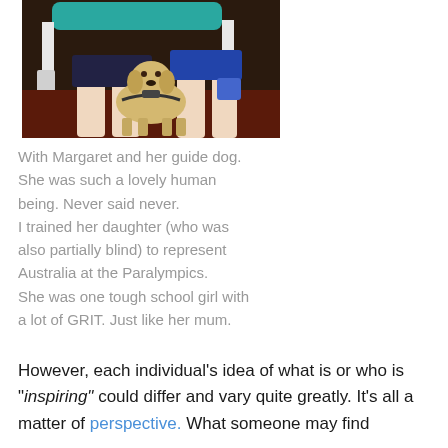[Figure (photo): Photo of a person standing with a yellow Labrador guide dog in a gym or training facility with teal-colored equipment in the background.]
With Margaret and her guide dog. She was such a lovely human being. Never said never. I trained her daughter (who was also partially blind) to represent Australia at the Paralympics. She was one tough school girl with a lot of GRIT. Just like her mum.
However, each individual's idea of what is or who is “inspiring” could differ and vary quite greatly. It’s all a matter of perspective. What someone may find